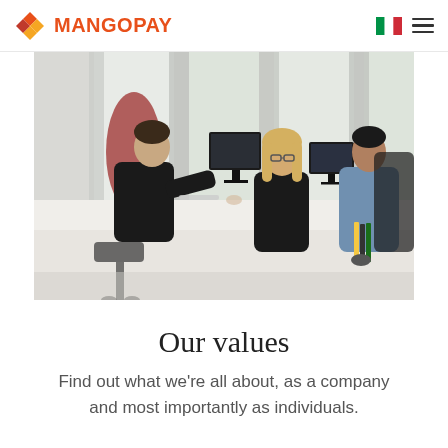MANGOPAY
[Figure (photo): Office photo showing three people working at a shared desk with computers in a bright, modern office space. One person on the left faces away from camera, a blonde woman in the center, and a man in a blue jacket on the right.]
Our values
Find out what we're all about, as a company and most importantly as individuals.